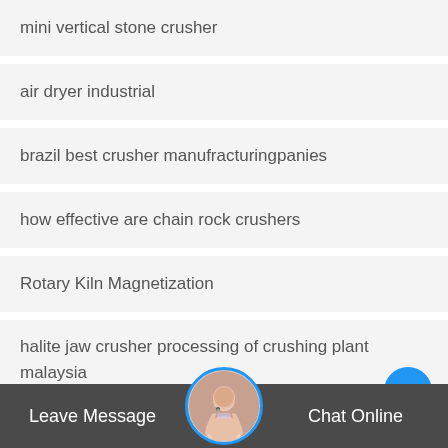mini vertical stone crusher
air dryer industrial
brazil best crusher manufracturingpanies
how effective are chain rock crushers
Rotary Kiln Magnetization
halite jaw crusher processing of crushing plant malaysia
granite jaw crusher pe600*900
marble dust collector
Leave Message   Chat Online